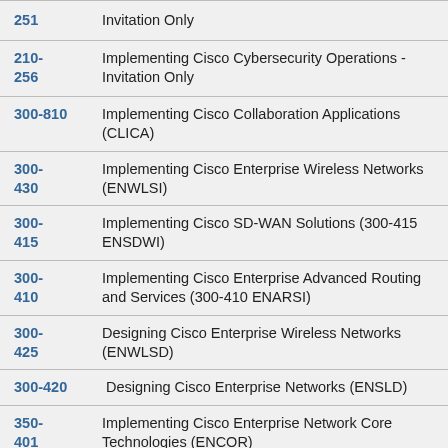| Code | Description |
| --- | --- |
| 251 | Invitation Only |
| 210-256 | Implementing Cisco Cybersecurity Operations - Invitation Only |
| 300-810 | Implementing Cisco Collaboration Applications (CLICA) |
| 300-430 | Implementing Cisco Enterprise Wireless Networks (ENWLSI) |
| 300-415 | Implementing Cisco SD-WAN Solutions (300-415 ENSDWI) |
| 300-410 | Implementing Cisco Enterprise Advanced Routing and Services (300-410 ENARSI) |
| 300-425 | Designing Cisco Enterprise Wireless Networks (ENWLSD) |
| 300-420 | Designing Cisco Enterprise Networks (ENSLD) |
| 350-401 | Implementing Cisco Enterprise Network Core Technologies (ENCOR) |